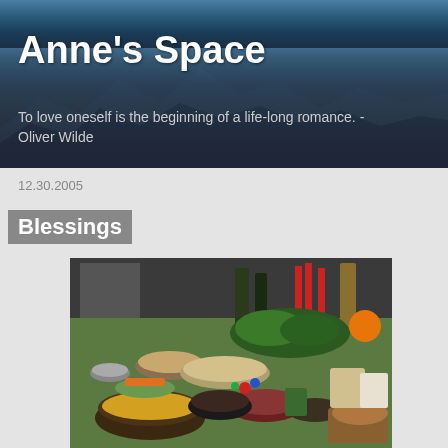Anne's Space
To love oneself is the beginning of a life-long romance. - Oliver Wilde
12.30.2005
Blessings
[Figure (photo): A table covered with a green tablecloth, laden with a large spread of holiday food including bowls of chips, vegetables, cheeses, breads, dips, candles, and wine bottles.]